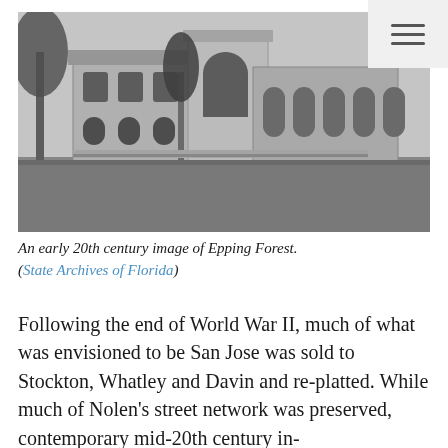[Figure (photo): Black and white early 20th century photograph of Epping Forest, showing a large Mediterranean-style building with arched windows and colonnades, surrounded by trees.]
An early 20th century image of Epping Forest. (State Archives of Florida)
Following the end of World War II, much of what was envisioned to be San Jose was sold to Stockton, Whatley and Davin and re-platted. While much of Nolen's street network was preserved, contemporary mid-20th century in-